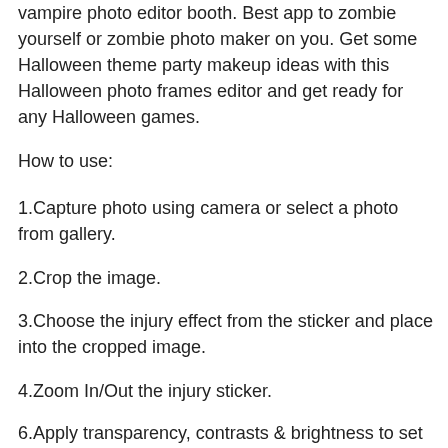vampire photo editor booth. Best app to zombie yourself or zombie photo maker on you. Get some Halloween theme party makeup ideas with this Halloween photo frames editor and get ready for any Halloween games.
How to use:
1.Capture photo using camera or select a photo from gallery.
2.Crop the image.
3.Choose the injury effect from the sticker and place into the cropped image.
4.Zoom In/Out the injury sticker.
6.Apply transparency, contrasts & brightness to set injury sticker to feel like real injury.